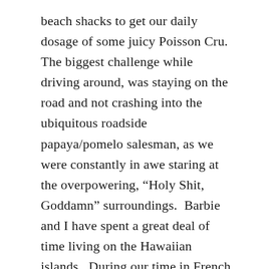beach shacks to get our daily dosage of some juicy Poisson Cru.  The biggest challenge while driving around, was staying on the road and not crashing into the ubiquitous roadside papaya/pomelo salesman, as we were constantly in awe staring at the overpowering, “Holy Shit, Goddamn” surroundings.  Barbie and I have spent a great deal of time living on the Hawaiian islands.  During our time in French Polynesia, we really appreciated these islands as they were ‘rougher around the edges’.  We both loved seeing all the Polynesian traditions, the housing structures, the island smells and the everyday life of locals still in tact.  We kept imagining that this is what Hawaii must have looked liked 50 years ago prior to the arrival of